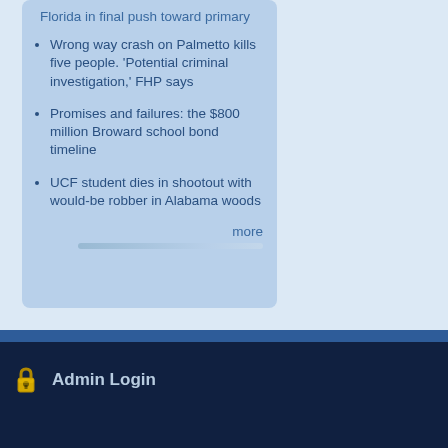Florida in final push toward primary
Wrong way crash on Palmetto kills five people. 'Potential criminal investigation,' FHP says
Promises and failures: the $800 million Broward school bond timeline
UCF student dies in shootout with would-be robber in Alabama woods
more
[Figure (illustration): Yellow padlock icon for Admin Login section]
Admin Login